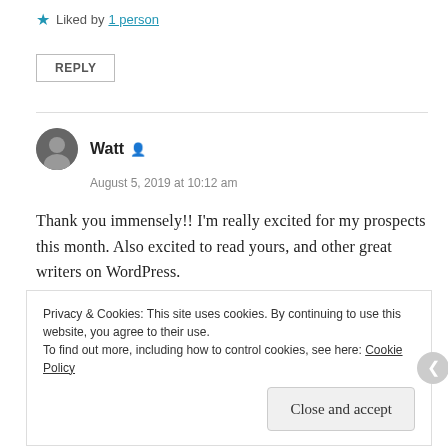★ Liked by 1 person
REPLY
Watt
August 5, 2019 at 10:12 am
Thank you immensely!! I'm really excited for my prospects this month. Also excited to read yours, and other great writers on WordPress.
★ Liked by 1 person
Privacy & Cookies: This site uses cookies. By continuing to use this website, you agree to their use. To find out more, including how to control cookies, see here: Cookie Policy
Close and accept